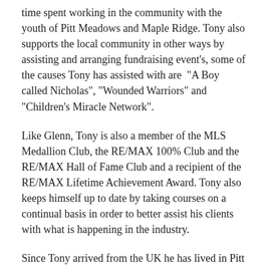time spent working in the community with the youth of Pitt Meadows and Maple Ridge. Tony also supports the local community in other ways by assisting and arranging fundraising event's, some of the causes Tony has assisted with are  "A Boy called Nicholas", "Wounded Warriors" and "Children's Miracle Network".
Like Glenn, Tony is also a member of the MLS Medallion Club, the RE/MAX 100% Club and the RE/MAX Hall of Fame Club and a recipient of the RE/MAX Lifetime Achievement Award. Tony also keeps himself up to date by taking courses on a continual basis in order to better assist his clients with what is happening in the industry.
Since Tony arrived from the UK he has lived in Pitt Meadows where he currently resides except for the 3 years where he lived in Maple Ridge, so he is very familiar with the area and he is being honest when he says "he loves it here", he gets a real